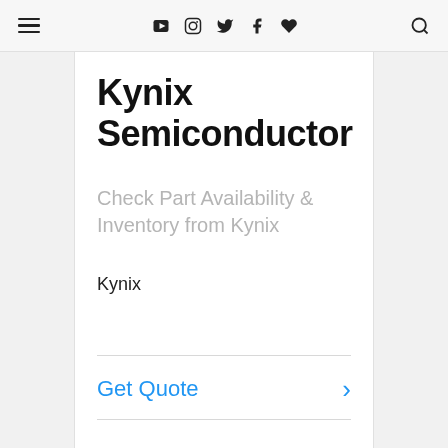navigation bar with menu, social icons, and search
Kynix Semiconductor
Check Part Availability & Inventory from Kynix
Kynix
Get Quote